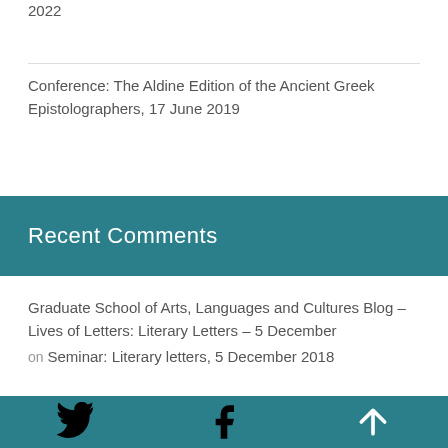2022
Conference: The Aldine Edition of the Ancient Greek Epistolographers, 17 June 2019
Recent Comments
Graduate School of Arts, Languages and Cultures Blog – Lives of Letters: Literary Letters – 5 December
on Seminar: Literary letters, 5 December 2018
Twitter | Facebook | Back to top